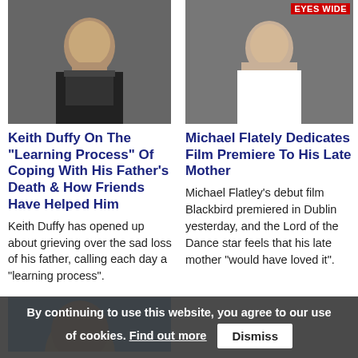[Figure (photo): Photo of Keith Duffy, man with dark hair in black jacket]
[Figure (photo): Photo of Michael Flatley at Eyes Wide event, man in white shirt]
Keith Duffy On The "Learning Process" Of Coping With His Father's Death & How Friends Have Helped Him
Michael Flately Dedicates Film Premiere To His Late Mother
Keith Duffy has opened up about grieving over the sad loss of his father, calling each day a "learning process".
Michael Flatley's debut film Blackbird premiered in Dublin yesterday, and the Lord of the Dance star feels that his late mother "would have loved it".
[Figure (photo): Partial photo of person at bottom left, blue background]
By continuing to use this website, you agree to our use of cookies. Find out more  Dismiss